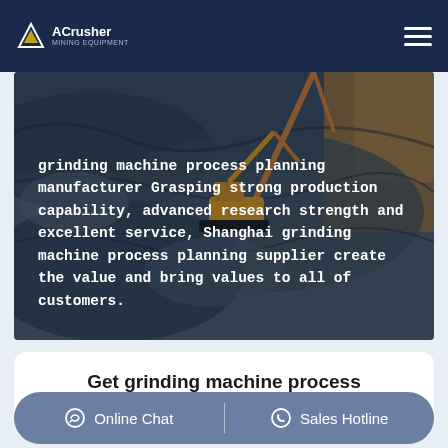ACrusher Mining Equipment
[Figure (photo): Aerial/overhead view of a mining quarry site with excavators and heavy machinery working on rocky terrain with blue-grey stone and orange/brown earth]
grinding machine process planning manufacturer Grasping strong production capability, advanced research strength and excellent service, Shanghai grinding machine process planning supplier create the value and bring values to all of customers.
Get grinding machine process
Online Chat | Sales Hotline